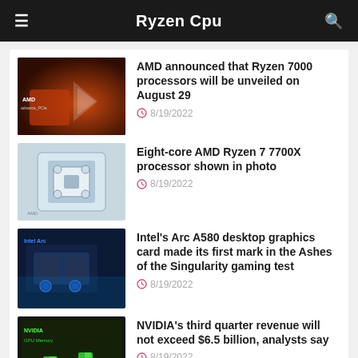Ryzen Cpu
AMD announced that Ryzen 7000 processors will be unveiled on August 29 — 8/19/2022
Eight-core AMD Ryzen 7 7700X processor shown in photo — 8/19/2022
Intel's Arc A580 desktop graphics card made its first mark in the Ashes of the Singularity gaming test — 8/19/2022
NVIDIA's third quarter revenue will not exceed $6.5 billion, analysts say — 8/19/2022